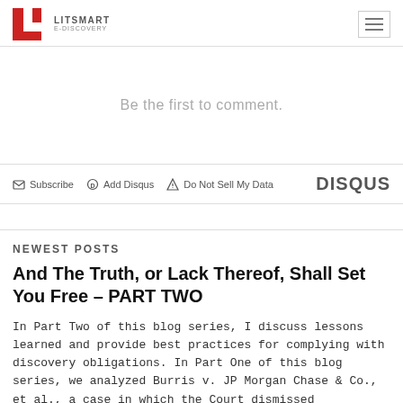LITSMART E-DISCOVERY
Be the first to comment.
Subscribe  Add Disqus  Do Not Sell My Data  DISQUS
NEWEST POSTS
And The Truth, or Lack Thereof, Shall Set You Free – PART TWO
In Part Two of this blog series, I discuss lessons learned and provide best practices for complying with discovery obligations. In Part One of this blog series, we analyzed Burris v. JP Morgan Chase & Co., et al., a case in which the Court dismissed Plaintiff's complaint with